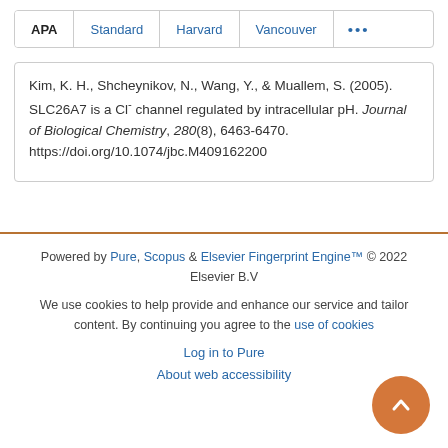APA | Standard | Harvard | Vancouver | ...
Kim, K. H., Shcheynikov, N., Wang, Y., & Muallem, S. (2005). SLC26A7 is a Cl⁻ channel regulated by intracellular pH. Journal of Biological Chemistry, 280(8), 6463-6470. https://doi.org/10.1074/jbc.M409162200
Powered by Pure, Scopus & Elsevier Fingerprint Engine™ © 2022 Elsevier B.V
We use cookies to help provide and enhance our service and tailor content. By continuing you agree to the use of cookies
Log in to Pure
About web accessibility